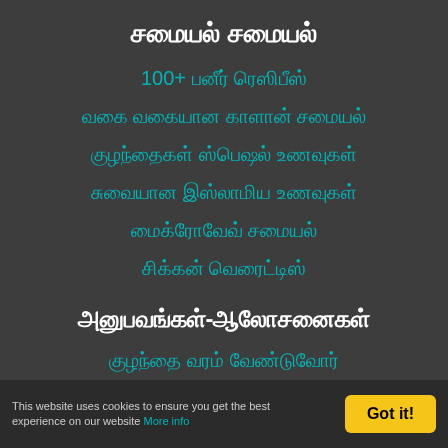சமையல் சமையல்
100+ பனீர் ரெஸிபீஸ்
வகை வகையான காளான் சமையல்
குழந்தைகள் ஸ்பெஷல் உணவுகள்
சுவையான இஸ்லாமிய உணவுகள்
மைக்ரோவேவ் சமையல்
சிக்கன் வெரைட்டிஸ்
அனுபவங்கள்-ஆலோசனைகள்
குழந்தை வரம் வேண்டுவோர்
கர்பிணிப் பெண்களுக்கான சந்தேகங்கள்
This website uses cookies to ensure you get the best experience on our website More info